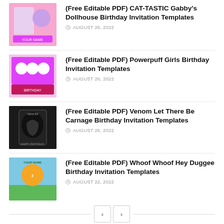(Free Editable PDF) CAT-TASTIC Gabby's Dollhouse Birthday Invitation Templates — AUGUST 26, 2022
(Free Editable PDF) Powerpuff Girls Birthday Invitation Templates — AUGUST 26, 2022
(Free Editable PDF) Venom Let There Be Carnage Birthday Invitation Templates — AUGUST 26, 2022
(Free Editable PDF) Whoof Whoof Hey Duggee Birthday Invitation Templates — AUGUST 22, 2022
Descendant 3 Party Decorations